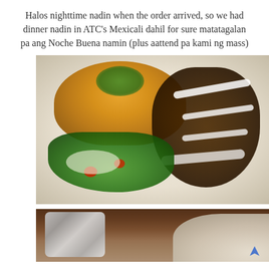Halos nighttime nadin when the order arrived, so we had dinner nadin in ATC's Mexicali dahil for sure matatagalan pa ang Noche Buena namin (plus aattend pa kami ng mass)
[Figure (photo): A plate of Mexican food from Mexicali at ATC, featuring Spanish rice with herbs, enchiladas covered in dark mole sauce with cream drizzle, and a fresh green salad with tomatoes and sour cream.]
[Figure (photo): Bottom portion of another food photo showing what appears to be a burrito wrapped in foil on a plate, in a warm dimly-lit restaurant setting.]